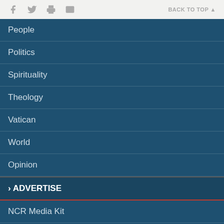BACK TO TOP
People
Politics
Spirituality
Theology
Vatican
World
Opinion
› ADVERTISE
NCR Media Kit
Online Advertising
Email Advertising
Classifieds